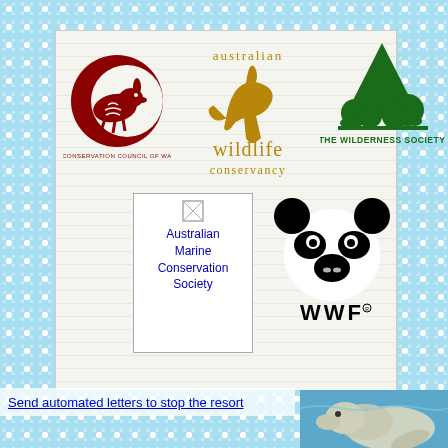[Figure (logo): Conservation Council of WA logo — dark red crescent C with bilby animal, text 'CONSERVATION COUNCIL OF WA' below]
[Figure (logo): Australian Wildlife Conservancy logo — gold/tan kangaroo or bilby silhouette with text 'australian wildlife conservancy' in lowercase]
[Figure (logo): The Wilderness Society logo — dark green tree/forest silhouette pyramid with text 'THE WILDERNESS SOCIETY']
[Figure (logo): Australian Marine Conservation Society logo — broken image icon with text 'Australian Marine Conservation Society']
[Figure (logo): WWF logo — black and white giant panda face with text 'WWF']
Send automated letters to stop the resort
[Figure (photo): Photo of a marine animal (dugong or seal) partially submerged in blue water]